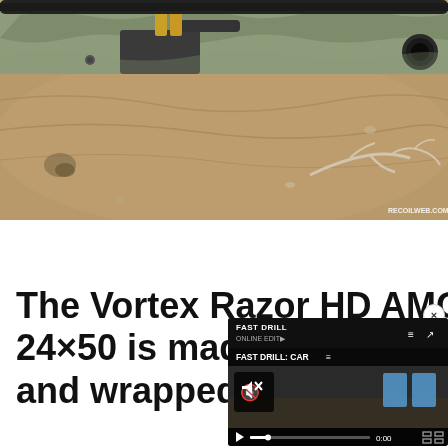[Figure (photo): Close-up photo of a bolt-action rifle with camouflage stock on sandy/rocky ground with scattered debris. Cartridges visible in the magazine. Watermark 'RECOILWEB.COM' in lower right.]
The Vortex Razor HD AMG 6-24×50 is made o… and wrapped in a…
[Figure (screenshot): Video overlay showing 'FAST DRILL: CAR...' with muted speaker icon, blue target rectangles, play button, 0:00 timestamp, and fullscreen button on dark background.]